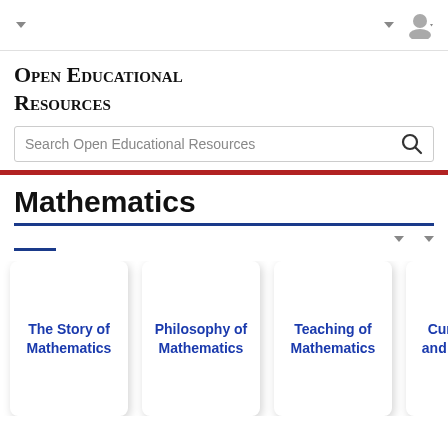Open Educational Resources
Open Educational Resources
Search Open Educational Resources
Mathematics
[Figure (screenshot): Category cards: The Story of Mathematics, Philosophy of Mathematics, Teaching of Mathematics, Curriculum and Syllabus, (partially visible card)]
The Story of Mathematics
Philosophy of Mathematics
Teaching of Mathematics
Curriculum and Syllabus